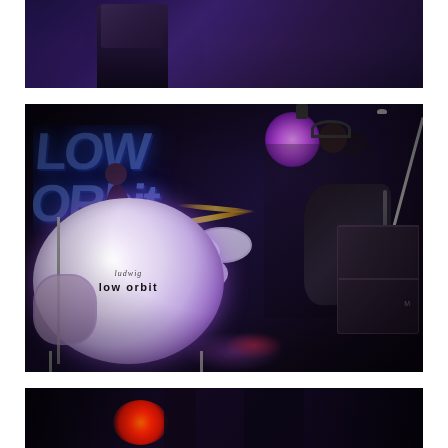[Figure (photo): Top cropped photo showing dark stage scene with a silhouetted figure, purple/blue lighting]
[Figure (photo): Concert photo of the band Low Orbit performing on stage. A drummer sits behind a white drum kit with a bass drum reading 'Low Orbit' and the Ludwig brand. A guitarist plays an electric guitar on the right. Purple stage lighting and a blue graffiti-style band logo backdrop visible behind them.]
[Figure (photo): Bottom cropped photo showing dark stage with a red/orange light glowing from the floor]